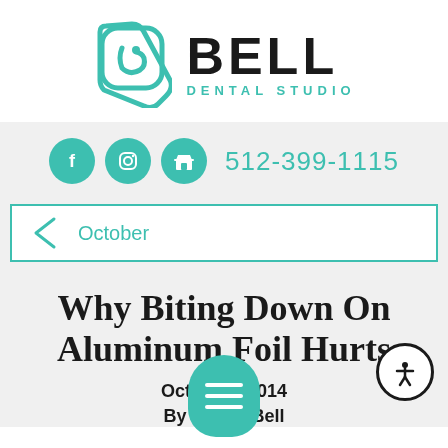[Figure (logo): Bell Dental Studio logo with teal play-button icon and bold BELL text with DENTAL STUDIO subtitle]
[Figure (infographic): Social media icons (Facebook, Instagram, Google) as teal circles and phone number 512-399-1115 in teal]
[Figure (infographic): Navigation bar with teal border, left-pointing chevron arrow, and 'October' text in teal]
Why Biting Down On Aluminum Foil Hurts
October 2014
By M[obscured] Bell